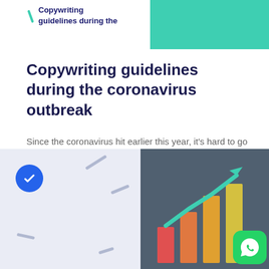Copywriting guidelines during the
Copywriting guidelines during the coronavirus outbreak
Since the coronavirus hit earlier this year, it's hard to go anywhere without hearing about it. It's all over your socia...
vinayjames687
August 17, 2020 · 5 min read
[Figure (screenshot): Bottom left: light blue-grey card with a blue circle check icon and diagonal grey dashes. Bottom right: dark teal card showing a bar chart with rising bars in red, orange, yellow and a green upward arrow, plus WhatsApp icon badge.]